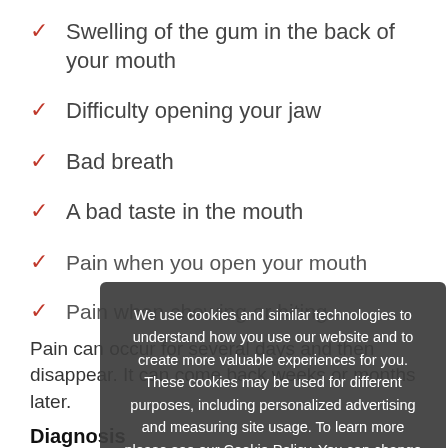Swelling of the gum in the back of your mouth
Difficulty opening your jaw
Bad breath
A bad taste in the mouth
Pain when you open your mouth
Pain when chewing or biting
Pain can occur for several days and then disappear. It can come back weeks or months later.
Diagnosis
Your dentist will examine the area. If necessary, he or
We use cookies and similar technologies to understand how you use our website and to create more valuable experiences for you. These cookies may be used for different purposes, including personalized advertising and measuring site usage. To learn more please see our Cookie Policy. You can change your preferences at any time through our Cookie preferences tool.